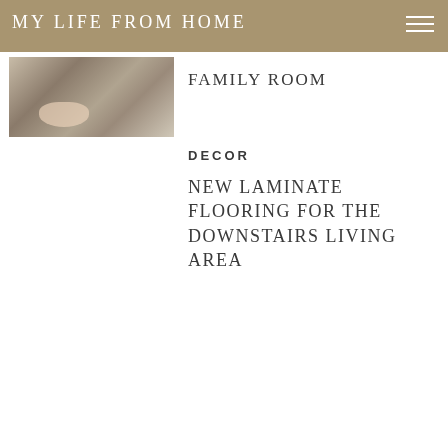MY LIFE FROM HOME
[Figure (photo): Close-up photo showing baby toes resting on a textured rug or carpet floor]
FAMILY ROOM
DECOR
NEW LAMINATE FLOORING FOR THE DOWNSTAIRS LIVING AREA